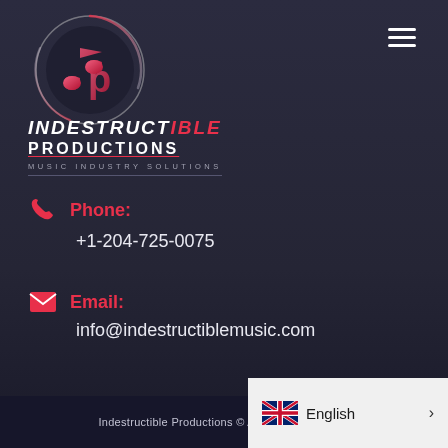[Figure (logo): Indestructible Productions logo — circular emblem with musical note and letters 'dp' in pink/red gradient on dark background with swirl]
INDESTRUCTIBLE PRODUCTIONS
MUSIC INDUSTRY SOLUTIONS
Phone:
+1-204-725-0075
Email:
info@indestructiblemusic.com
Indestructible Productions © All Rights Reserved